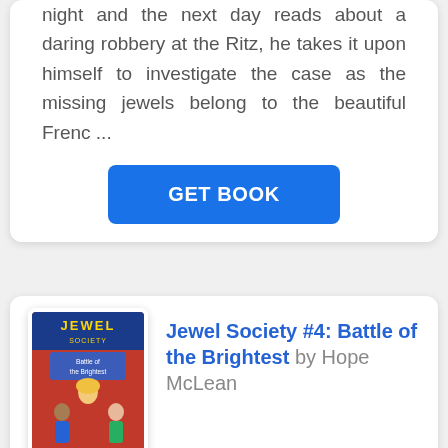night and the next day reads about a daring robbery at the Ritz, he takes it upon himself to investigate the case as the missing jewels belong to the beautiful Frenc ...
GET BOOK
[Figure (illustration): Book cover of Jewel Society #4: Battle of the Brightest by Hope McLean, showing a blonde girl in red jacket with other children in background, Scholastic publisher logo at bottom.]
Jewel Society #4: Battle of the Brightest by Hope McLean
It's the battle of the brightest as the Jewels and Rivals prepare to face-off at the National Quiz